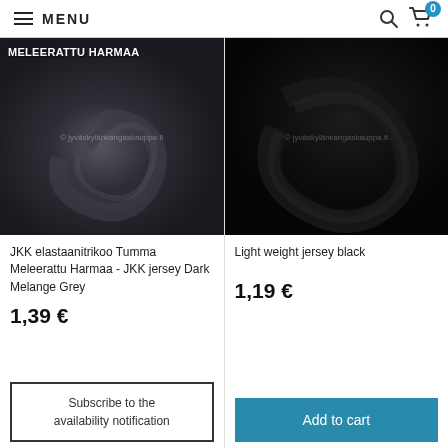MENU
[Figure (photo): Dark grey melange knit fabric with MELEERATTU HARMAA label and watermark © jyväskylänkangaskauppa.fi]
JKK elastaanitrikoo Tumma Meleerattu Harmaa - JKK jersey Dark Melange Grey
1,39 €
Subscribe to the availability notification
[Figure (photo): Black knit fabric with watermark © jyväskylänkangaskauppa.fi]
Light weight jersey black
1,19 €
Add to cart